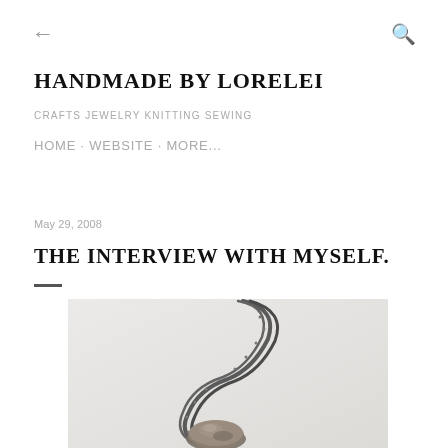← (back) Q (search)
HANDMADE BY LORELEI
CRAFTS JEWELRY KNITTING SEWING
HOME · WEBSITE · MORE...
May 29, 2008
THE INTERVIEW WITH MYSELF.
[Figure (photo): A long metallic chain necklace with a large stone pendant, laid on a white surface, photographed from above.]